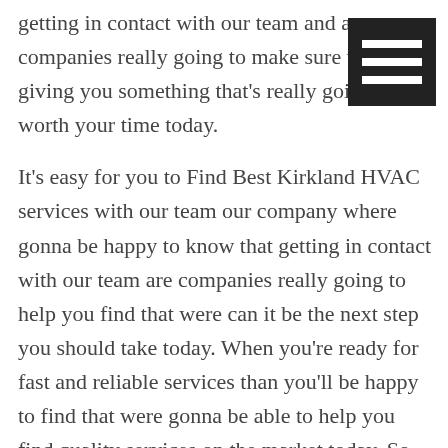getting in contact with our team and are companies really going to make sure were giving you something that's really going to be worth your time today.
[Figure (other): Hamburger menu icon: dark square with three white horizontal bars]
It's easy for you to Find Best Kirkland HVAC services with our team our company where gonna be happy to know that getting in contact with our team are companies really going to help you find that were can it be the next step you should take today. When you're ready for fast and reliable services than you'll be happy to find that were gonna be able to help you find quality services on the market today. So when you're looking for a great place and a great team to come to that's really going to help you save time and save